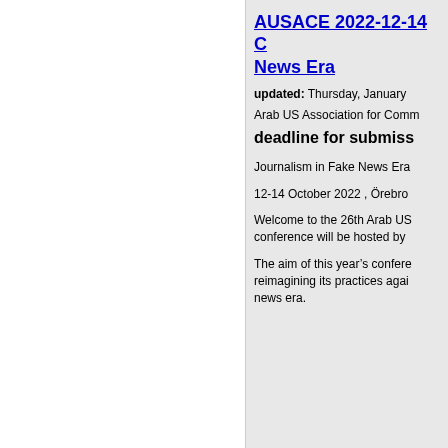AUSACE 2022-12-14 C News Era
updated: Thursday, January
Arab US Association for Comm
deadline for submiss
Journalism in Fake News Era
12-14 October 2022 , Örebro
Welcome to the 26th Arab US conference will be hosted by
The aim of this year's confere reimagining its practices agai news era.